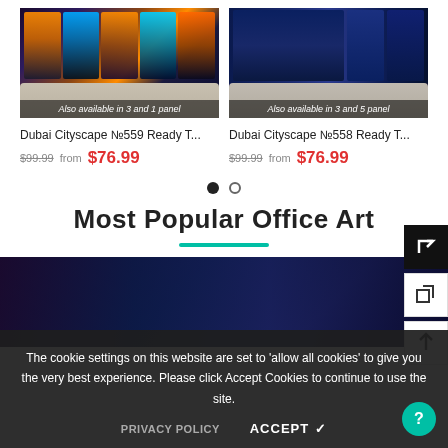[Figure (photo): Dubai Cityscape canvas art product photo showing cityscape panels above a light grey sofa, with overlay text 'Also available in 3 and 1 panel']
Dubai Cityscape №559 Ready T...
$99.99  from  $76.99
[Figure (photo): Dubai Cityscape canvas art product photo showing cityscape panels above a light grey sofa, with overlay text 'Also available in 3 and 5 panel']
Dubai Cityscape №558 Ready T...
$99.99  from  $76.99
Most Popular Office Art
The cookie settings on this website are set to 'allow all cookies' to give you the very best experience. Please click Accept Cookies to continue to use the site.
PRIVACY POLICY
ACCEPT ✓